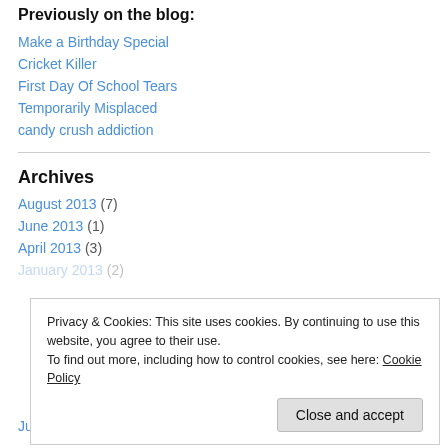Previously on the blog:
Make a Birthday Special
Cricket Killer
First Day Of School Tears
Temporarily Misplaced
candy crush addiction
Archives
August 2013 (7)
June 2013 (1)
April 2013 (3)
January 2013 (2)
July 2012 (1)
Privacy & Cookies: This site uses cookies. By continuing to use this website, you agree to their use. To find out more, including how to control cookies, see here: Cookie Policy